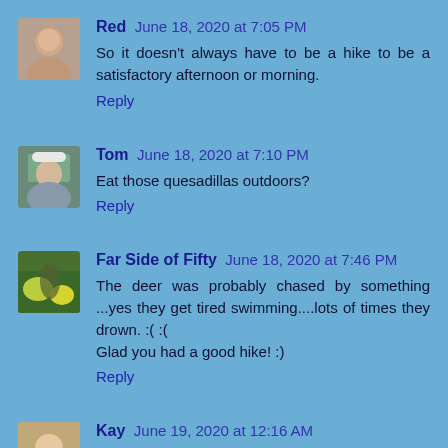Red June 18, 2020 at 7:05 PM
So it doesn't always have to be a hike to be a satisfactory afternoon or morning.
Reply
Tom June 18, 2020 at 7:10 PM
Eat those quesadillas outdoors?
Reply
Far Side of Fifty June 18, 2020 at 7:46 PM
The deer was probably chased by something ...yes they get tired swimming....lots of times they drown. :( :( Glad you had a good hike! :)
Reply
Kay June 19, 2020 at 12:16 AM